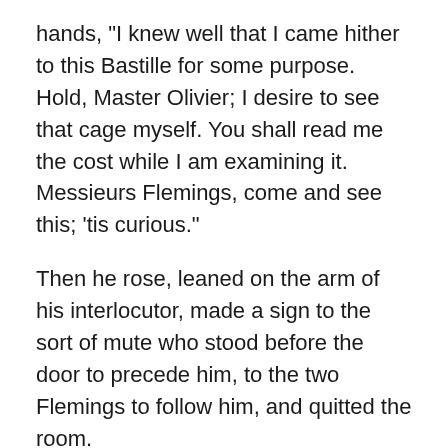hands, "I knew well that I came hither to this Bastille for some purpose. Hold, Master Olivier; I desire to see that cage myself. You shall read me the cost while I am examining it. Messieurs Flemings, come and see this; 'tis curious."
Then he rose, leaned on the arm of his interlocutor, made a sign to the sort of mute who stood before the door to precede him, to the two Flemings to follow him, and quitted the room.
The royal company was recruited, at the door of the retreat, by men of arras, all loaded down with iron, and by slender pages bearing flambeaux. It marched for some time through the interior of the gloomy donjon, pierced with staircases and corridors even in the very thickness of the walls. The cuptain of the Bastille marched at their head, and caused the wickets to be opened before the